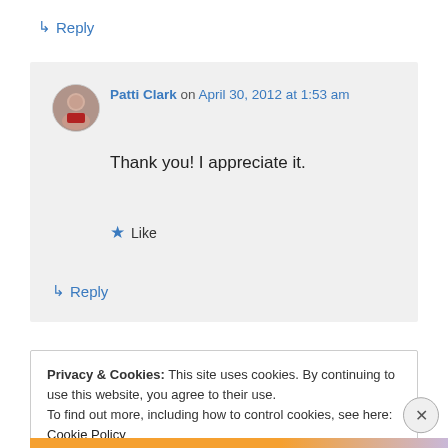↳ Reply
Patti Clark on April 30, 2012 at 1:53 am
Thank you! I appreciate it.
★ Like
↳ Reply
Privacy & Cookies: This site uses cookies. By continuing to use this website, you agree to their use.
To find out more, including how to control cookies, see here: Cookie Policy
Close and accept